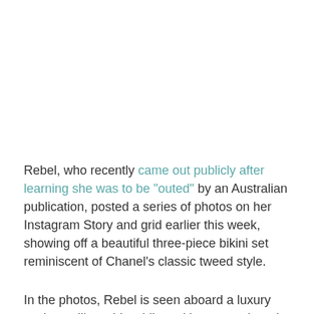Rebel, who recently came out publicly after learning she was to be "outed" by an Australian publication, posted a series of photos on her Instagram Story and grid earlier this week, showing off a beautiful three-piece bikini set reminiscent of Chanel's classic tweed style.
In the photos, Rebel is seen aboard a luxury yacht, smiling wide while rocking a peach and white pattern look that consists of a high-waisted bikini and a three-quarter sleeve